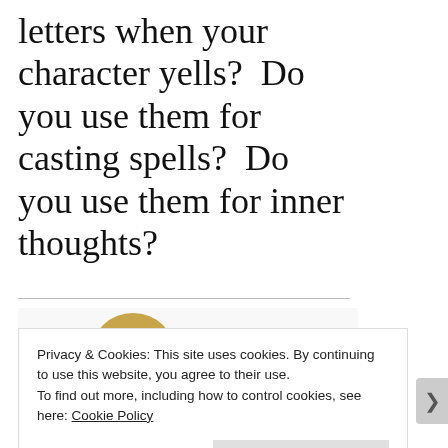letters when your character yells?  Do you use them for casting spells?  Do you use them for inner thoughts?
[Figure (illustration): Woman smiling with blonde hair next to decorative text reading 'Hi Again']
Privacy & Cookies: This site uses cookies. By continuing to use this website, you agree to their use.
To find out more, including how to control cookies, see here: Cookie Policy
Close and accept